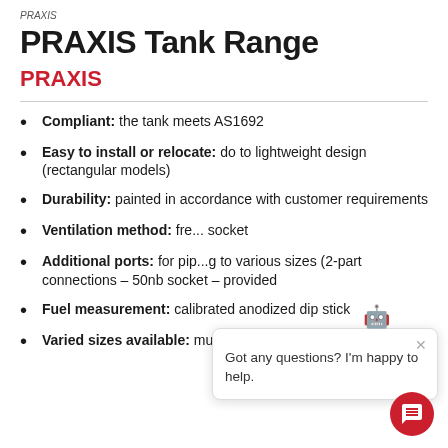PRAXIS
PRAXIS Tank Range
PRAXIS
Compliant: the tank meets AS1692
Easy to install or relocate: do to lightweight design (rectangular models)
Durability: painted in accordance with customer requirements
Ventilation method: fre... socket
Additional ports: for piping to various sizes (2-part connections – 50nb socket – provided
Fuel measurement: calibrated anodized dip stick
Varied sizes available: multiple compartment tank